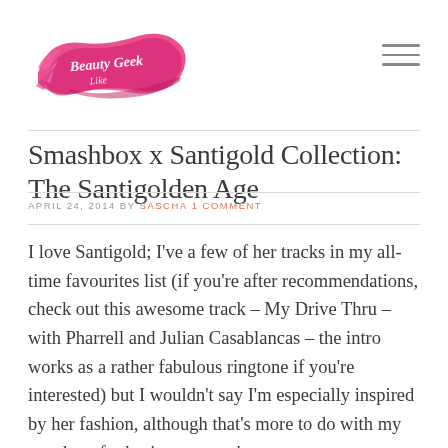[Figure (logo): Beauty Geek Like logo — pink brushstroke with cursive white text]
Smashbox x Santigold Collection: The Santigolden Age
APRIL 24, 2014 BY SASCHA 1 COMMENT
I love Santigold; I've a few of her tracks in my all-time favourites list (if you're after recommendations, check out this awesome track – My Drive Thru – with Pharrell and Julian Casablancas – the intro works as a rather fabulous ringtone if you're interested) but I wouldn't say I'm especially inspired by her fashion, although that's more to do with my penchant for boring tops and